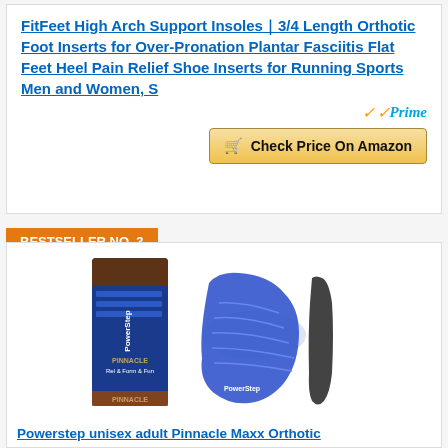FitFeet High Arch Support Insoles｜3/4 Length Orthotic Foot Inserts for Over-Pronation Plantar Fasciitis Flat Feet Heel Pain Relief Shoe Inserts for Running Sports Men and Women, S
[Figure (other): Amazon Prime logo]
Check Price On Amazon
BESTSELLER NO. 3
[Figure (photo): PowerStep Pinnacle Maxx insole product photo showing product box and two insoles (top and side views)]
Powerstep unisex adult Pinnacle Maxx Orthotic